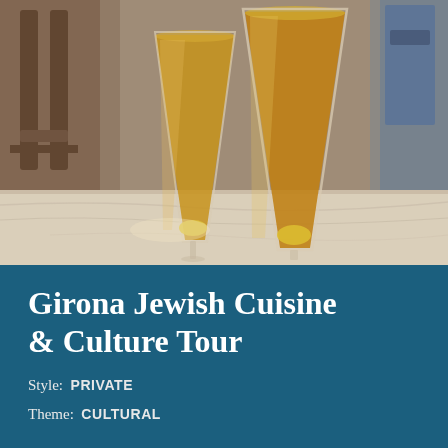[Figure (photo): Two conical champagne flutes filled with amber/golden liquid (likely a sparkling drink with a lemon or fruit garnish at the bottom), placed on a white marble table in a restaurant setting. Background shows wooden chairs and blue upholstery.]
Girona Jewish Cuisine & Culture Tour
Style: PRIVATE
Theme: CULTURAL